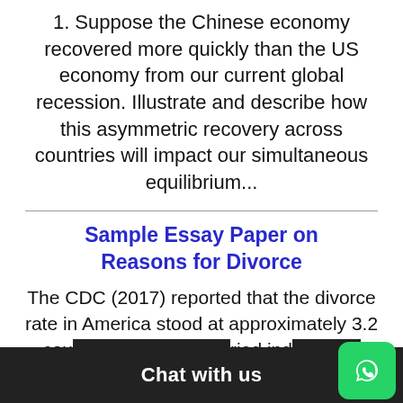1. Suppose the Chinese economy recovered more quickly than the US economy from our current global recession. Illustrate and describe how this asymmetric recovery across countries will impact our simultaneous equilibrium...
Sample Essay Paper on Reasons for Divorce
The CDC (2017) reported that the divorce rate in America stood at approximately 3.2 cou... ried ind... was